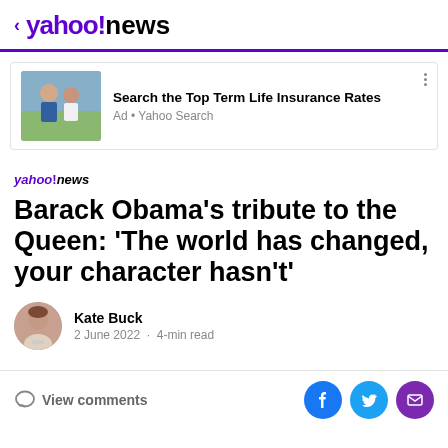< yahoo!news
[Figure (photo): Advertisement banner: couple sitting outdoors, with text 'Search the Top Term Life Insurance Rates' and 'Ad • Yahoo Search']
Barack Obama's tribute to the Queen: 'The world has changed, your character hasn't'
Kate Buck
2 June 2022 · 4-min read
View comments